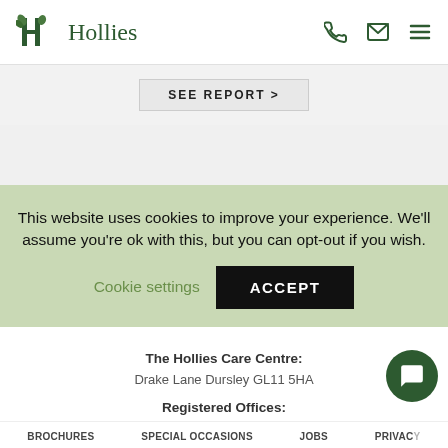Hollies
SEE REPORT >
This website uses cookies to improve your experience. We'll assume you're ok with this, but you can opt-out if you wish. Cookie settings ACCEPT
The Hollies Care Centre: Drake Lane Dursley GL11 5HA
Registered Offices: Windsor House, Bayshill Road, Cheltenham GL50 3AT
BROCHURES   SPECIAL OCCASIONS   JOBS   PRIVACY POLICY   COVID...